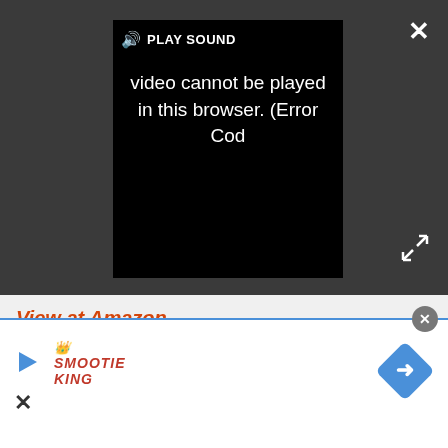[Figure (screenshot): Dark video player area with 'PLAY SOUND' button and video error message: 'Video cannot be played in this browser. (Error Cod...']
View at Amazon
View at Amazon
View at Best Buy
REASONS TO BUY
+ Waterproof
+ Flush-screen
+ Extra storage
[Figure (screenshot): Advertisement overlay at bottom with Smoothie King logo, play button, close X button, and navigation diamond arrow icon]